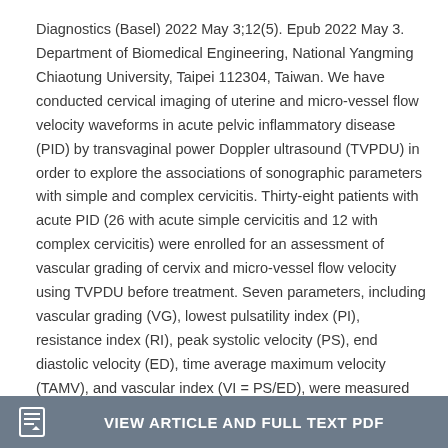Diagnostics (Basel) 2022 May 3;12(5). Epub 2022 May 3. Department of Biomedical Engineering, National Yangming Chiaotung University, Taipei 112304, Taiwan. We have conducted cervical imaging of uterine and micro-vessel flow velocity waveforms in acute pelvic inflammatory disease (PID) by transvaginal power Doppler ultrasound (TVPDU) in order to explore the associations of sonographic parameters with simple and complex cervicitis. Thirty-eight patients with acute PID (26 with acute simple cervicitis and 12 with complex cervicitis) were enrolled for an assessment of vascular grading of cervix and micro-vessel flow velocity using TVPDU before treatment. Seven parameters, including vascular grading (VG), lowest pulsatility index (PI), resistance index (RI), peak systolic velocity (PS), end diastolic velocity (ED), time average maximum velocity (TAMV), and vascular index (VI = PS/ED), were measured and recorded. Read More
VIEW ARTICLE AND FULL TEXT PDF